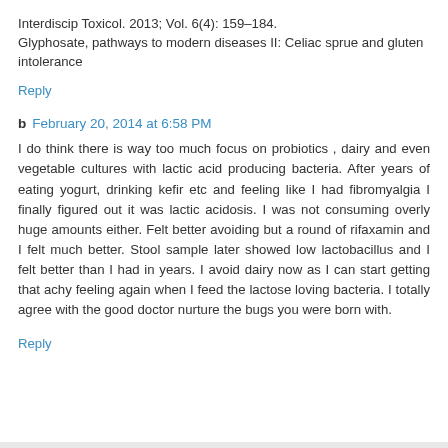Interdiscip Toxicol. 2013; Vol. 6(4): 159–184.
Glyphosate, pathways to modern diseases II: Celiac sprue and gluten intolerance
Reply
b  February 20, 2014 at 6:58 PM
I do think there is way too much focus on probiotics , dairy and even vegetable cultures with lactic acid producing bacteria. After years of eating yogurt, drinking kefir etc and feeling like I had fibromyalgia I finally figured out it was lactic acidosis. I was not consuming overly huge amounts either. Felt better avoiding but a round of rifaxamin and I felt much better. Stool sample later showed low lactobacillus and I felt better than I had in years. I avoid dairy now as I can start getting that achy feeling again when I feed the lactose loving bacteria. I totally agree with the good doctor nurture the bugs you were born with.
Reply